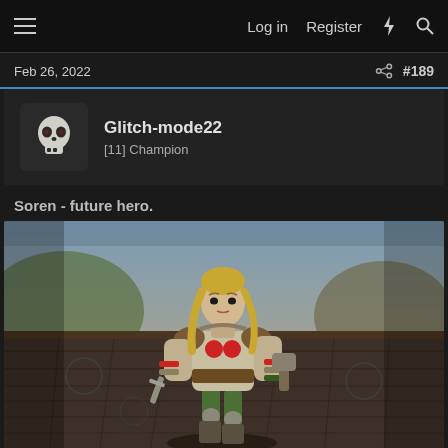Log in  Register
Feb 26, 2022  #189
Glitch-mode22
[11] Champion
Soren - future hero.
[Figure (photo): 3D game character named Soren standing in a combat stance on a stone tile floor, holding a dagger in one hand and a mace/hammer in the other. The character has long blonde hair, wears leather and metal armor with red circular emblems on the chest, green pants, and knee guards. Background shows a rocky terrain and sky.]